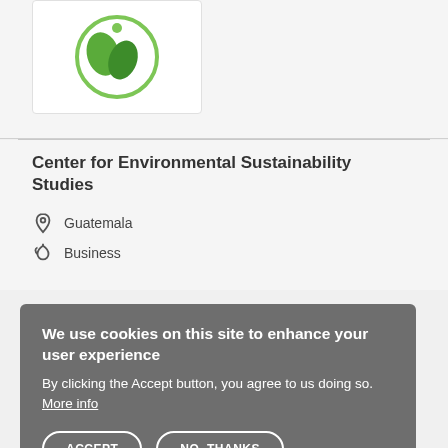[Figure (logo): Green circular logo with leaf/plant design on white background]
Center for Environmental Sustainability Studies
Guatemala
Business
We use cookies on this site to enhance your user experience By clicking the Accept button, you agree to us doing so. More info
ACCEPT
NO, THANKS
Government of Suriname